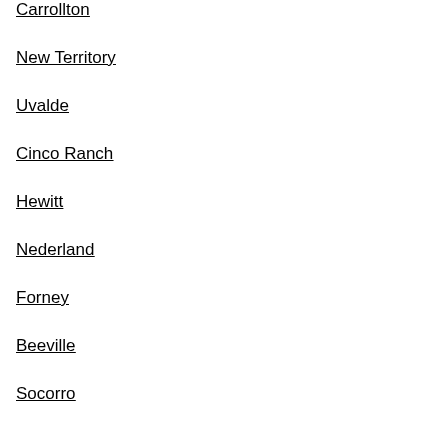Carrollton
New Territory
Uvalde
Cinco Ranch
Hewitt
Nederland
Forney
Beeville
Socorro
Kosciusko
Grand Prairie